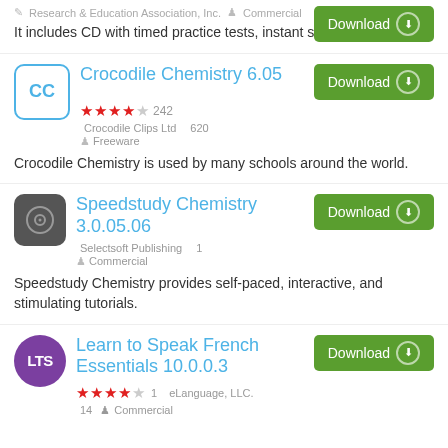Research & Education Association, Inc.  Commercial
It includes CD with timed practice tests, instant scoring and more.
Crocodile Chemistry 6.05
★★★★☆ 242  Crocodile Clips Ltd  620  Freeware
Crocodile Chemistry is used by many schools around the world.
Speedstudy Chemistry 3.0.05.06
Selectsoft Publishing  1  Commercial
Speedstudy Chemistry provides self-paced, interactive, and stimulating tutorials.
Learn to Speak French Essentials 10.0.0.3
★★★★☆ 1  eLanguage, LLC.  14  Commercial